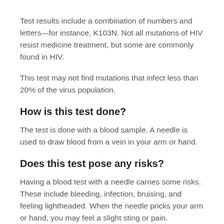Test results include a combination of numbers and letters—for instance, K103N. Not all mutations of HIV resist medicine treatment, but some are commonly found in HIV.
This test may not find mutations that infect less than 20% of the virus population.
How is this test done?
The test is done with a blood sample. A needle is used to draw blood from a vein in your arm or hand.
Does this test pose any risks?
Having a blood test with a needle carries some risks. These include bleeding, infection, bruising, and feeling lightheaded. When the needle pricks your arm or hand, you may feel a slight sting or pain. Afterward, the site